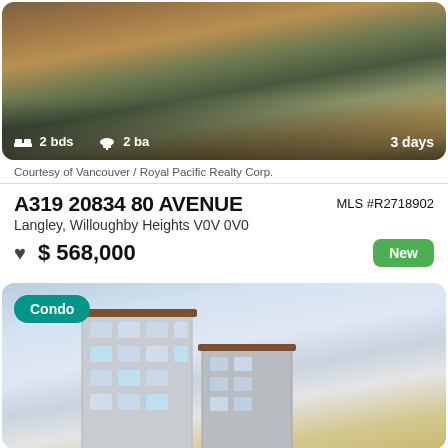[Figure (photo): Aerial/street view of a residential complex with trees and walkways, showing 2 bds, 2 ba, listed 3 days]
Courtesy of Vancouver / Royal Pacific Realty Corp.
A319 20834 80 AVENUE
MLS #R2718902
Langley, Willoughby Heights V0V 0V0
$ 568,000
New
[Figure (photo): Exterior photo of a modern multi-storey condo building with Condo badge overlay]